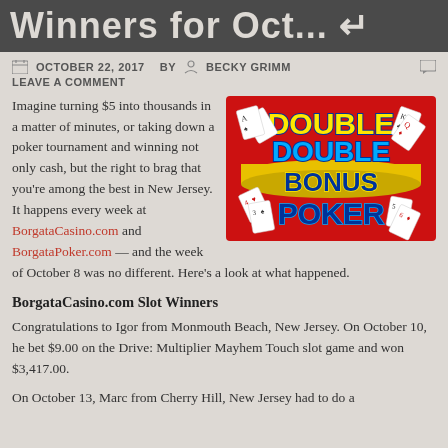Winners for Oct...
OCTOBER 22, 2017  BY  BECKY GRIMM  LEAVE A COMMENT
Imagine turning $5 into thousands in a matter of minutes, or taking down a poker tournament and winning not only cash, but the right to brag that you're among the best in New Jersey. It happens every week at BorgataCasino.com and BorgataPoker.com — and the week of October 8 was no different. Here's a look at what happened.
[Figure (illustration): Double Double Bonus Poker game logo on red background with playing cards and gold coins]
BorgataCasino.com Slot Winners
Congratulations to Igor from Monmouth Beach, New Jersey. On October 10, he bet $9.00 on the Drive: Multiplier Mayhem Touch slot game and won $3,417.00.
On October 13, Marc from Cherry Hill, New Jersey had to do a